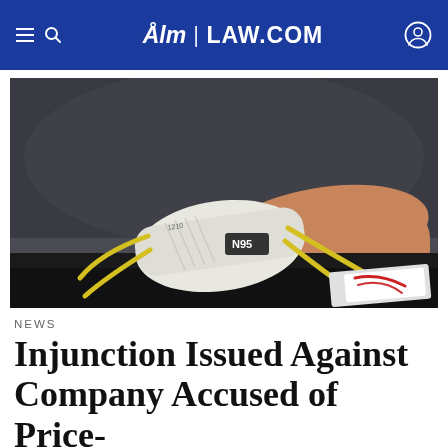ALM | LAW.COM
[Figure (photo): Close-up photograph of an N95 respirator mask sitting on a dark surface, with yellow elastic straps visible and a person's arm in the background.]
NEWS
Injunction Issued Against Company Accused of Price-